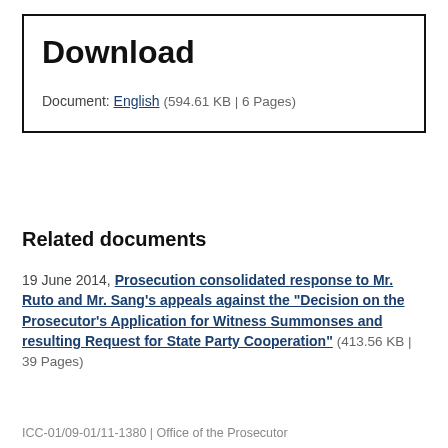Download
Document: English (594.61 KB | 6 Pages)
Related documents
19 June 2014, Prosecution consolidated response to Mr. Ruto and Mr. Sang’s appeals against the “Decision on the Prosecutor’s Application for Witness Summonses and resulting Request for State Party Cooperation” (413.56 KB | 39 Pages)
ICC-01/09-01/11-1380 | Office of the Prosecutor